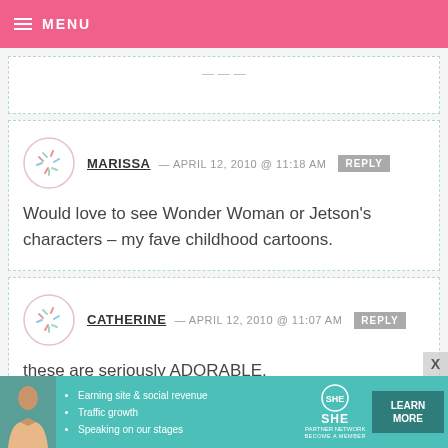MENU
MARISSA — APRIL 12, 2010 @ 11:18 AM  REPLY
Would love to see Wonder Woman or Jetson's characters – my fave childhood cartoons.
CATHERINE — APRIL 12, 2010 @ 11:07 AM  REPLY
these are seriously ADORABLE.
[Figure (infographic): SHE Partner Network advertisement banner with woman photo, bullet points about earning site & social revenue, traffic growth, speaking on stages, and a Learn More button.]